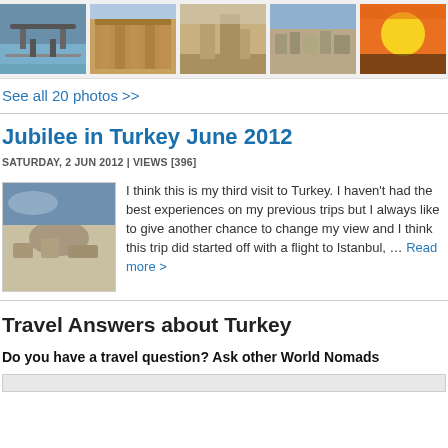[Figure (photo): Row of travel photo thumbnails showing Turkey scenes: bridge/water, ancient walls, desert ruins, hilltop town, sunset]
See all 20 photos >>
Jubilee in Turkey June 2012
SATURDAY, 2 JUN 2012 | VIEWS [396]
[Figure (photo): Aerial landscape photo of rocky terrain and city in Turkey]
I think this is my third visit to Turkey. I haven't had the best experiences on my previous trips but I always like to give another chance to change my view and I think this trip did started off with a flight to Istanbul, … Read more >
Travel Answers about Turkey
Do you have a travel question? Ask other World Nomads